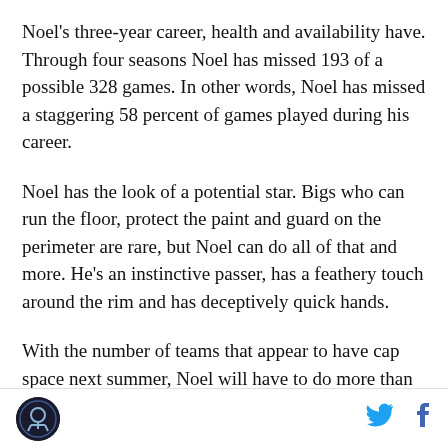Noel's three-year career, health and availability have. Through four seasons Noel has missed 193 of a possible 328 games. In other words, Noel has missed a staggering 58 percent of games played during his career.
Noel has the look of a potential star. Bigs who can run the floor, protect the paint and guard on the perimeter are rare, but Noel can do all of that and more. He's an instinctive passer, has a feathery touch around the rim and has deceptively quick hands.
With the number of teams that appear to have cap space next summer, Noel will have to do more than just stay healthy to earn his coveted pay day. He will
[logo] [twitter] [facebook]